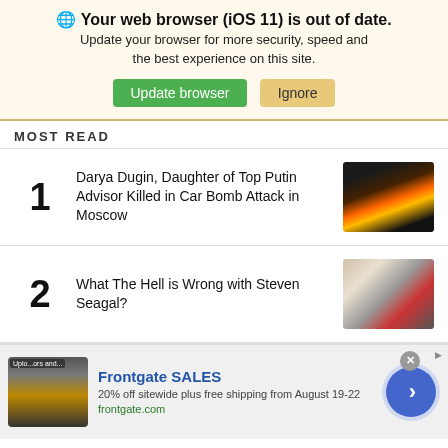🌐 Your web browser (iOS 11) is out of date. Update your browser for more security, speed and the best experience on this site. [Update browser] [Ignore]
MOST READ
1 Darya Dugin, Daughter of Top Putin Advisor Killed in Car Bomb Attack in Moscow
2 What The Hell is Wrong with Steven Seagal?
[Figure (infographic): Advertisement banner: Frontgate SALES. 20% off sitewide plus free shipping from August 19-22. frontgate.com. With outdoor furniture image and a blue arrow button.]